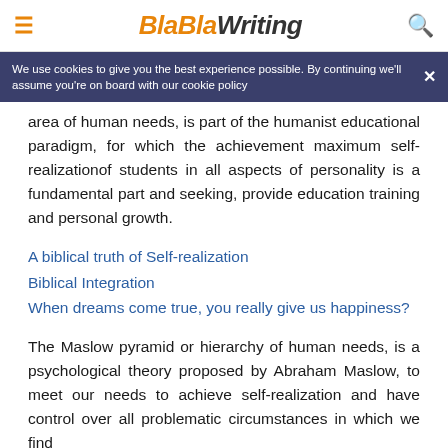BlaBlaWriting
We use cookies to give you the best experience possible. By continuing we'll assume you're on board with our cookie policy
area of human needs, is part of the humanist educational paradigm, for which the achievement maximum self-realizationof students in all aspects of personality is a fundamental part and seeking, provide education training and personal growth.
A biblical truth of Self-realization
Biblical Integration
When dreams come true, you really give us happiness?
The Maslow pyramid or hierarchy of human needs, is a psychological theory proposed by Abraham Maslow, to meet our needs to achieve self-realization and have control over all problematic circumstances in which we find